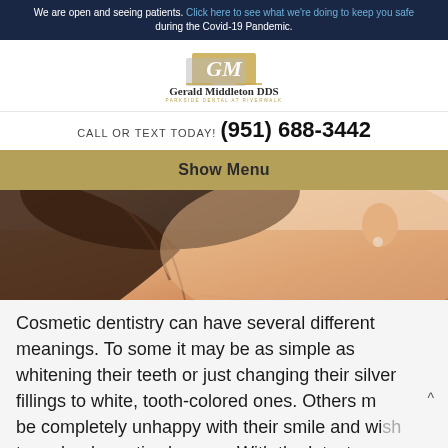We are open and seeing patients. Click here to see what we're doing to keep you safe during the Covid-19 Pandemic.
[Figure (logo): Gerald Middleton DDS logo with stylized GM monogram in gold and grey, text 'Gerald Middleton DDS' and subtitle 'PARKSIDE DENTAL AT RIVERWALK']
CALL OR TEXT TODAY! (951) 688-3442
Show Menu
[Figure (photo): Close-up photo of a smiling woman's face, showing her smile and ear with pearl earring, warm skin tones]
Cosmetic dentistry can have several different meanings. To some it may be as simple as whitening their teeth or just changing their silver fillings to white, tooth-colored ones. Others m be completely unhappy with their smile and wish to make dramatic changes. With the latest